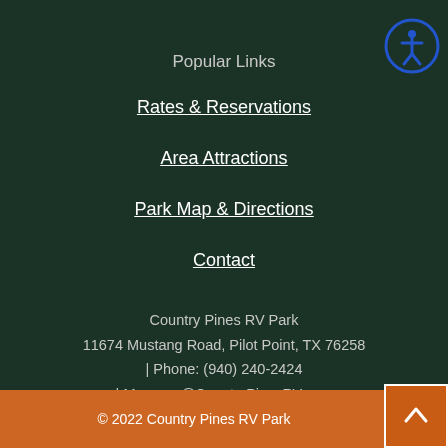[Figure (logo): RV Park logo partially visible at top]
Popular Links
Rates & Reservations
Area Attractions
Park Map & Directions
Contact
Country Pines RV Park
11674 Mustang Road, Pilot Point, TX 76258
| Phone: (940) 240-2424
| Manager@CountryPinesRV.com
© 2022 Country Pines RV Park
[Figure (illustration): Accessibility icon - circle with person figure]